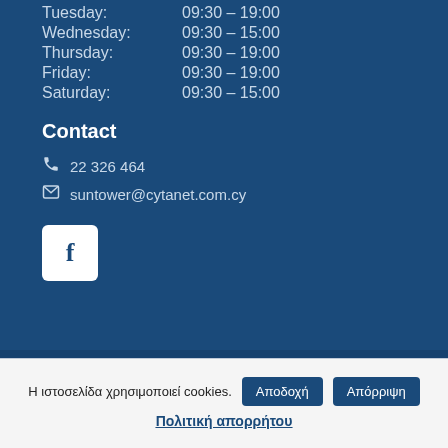Tuesday:    09:30 – 19:00
Wednesday:  09:30 – 15:00
Thursday:   09:30 – 19:00
Friday:     09:30 – 19:00
Saturday:   09:30 – 15:00
Contact
22 326 464
suntower@cytanet.com.cy
[Figure (logo): Facebook icon button (white square with blue 'f' letter)]
Η ιστοσελίδα χρησιμοποιεί cookies.
Αποδοχή
Απόρριψη
Πολιτική απορρήτου